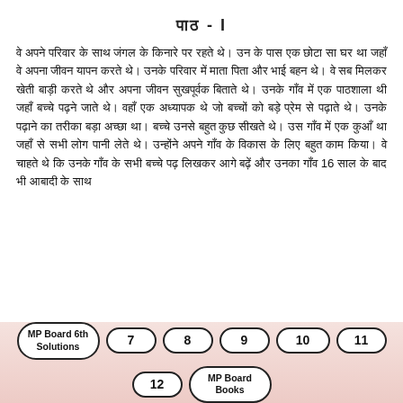पाठ - I
वे अपने परिवार के साथ जंगल के किनारे पर रहते थे। उन के पास एक छोटा सा घर था जहाँ वे अपना जीवन यापन करते थे। उनके परिवार में माता पिता और भाईबहन थे। वे सब मिलकर खेती बाड़ी करते थे और अपना जीवन सुखपूर्वक बिताते थे। उनके गाँव में एक पाठशाला थी जहाँ बच्चे पढ़ने जाते थे। वहाँ एक अध्यापक थे जो बच्चों को बड़े प्रेम से पढ़ाते थे। उनके पढ़ाने का तरीका बड़ा अच्छा था। बच्चे उनसे बहुत कुछ सीखते थे। उस गाँव में एक कुआँ था जहाँ से सभी लोग पानी लेते थे। उन्होंने अपने गाँव के विकास के लिए बहुत काम किया। वे चाहते थे कि उनके गाँव के सभी बच्चे पढ़ लिखकर आगे बढ़ें और उनका गाँव 16 साल के बाद भी आबादी के साथ
[Figure (other): Footer navigation bar with links: MP Board 6th Solutions, 7, 8, 9, 10, 11, 12, MP Board Books]